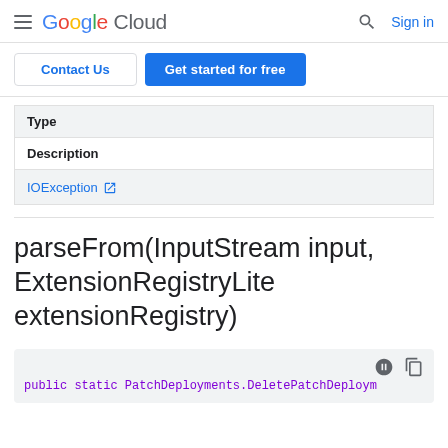Google Cloud — Sign in
Contact Us | Get started for free
| Type | Description |
| --- | --- |
| IOException |  |
parseFrom(InputStream input, ExtensionRegistryLite extensionRegistry)
public static PatchDeployments.DeletePatchDeploym